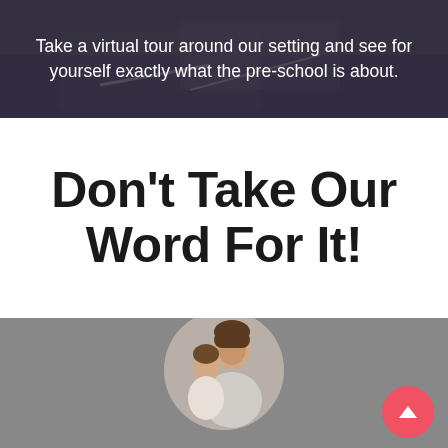Take a virtual tour around our setting and see for yourself exactly what the pre-school is about.
Don't Take Our Word For It!
[Figure (photo): Photo of a woman and young child (toddler) in a circular cropped portrait, displayed on a gray background. A red scroll-to-top button appears in the bottom right.]